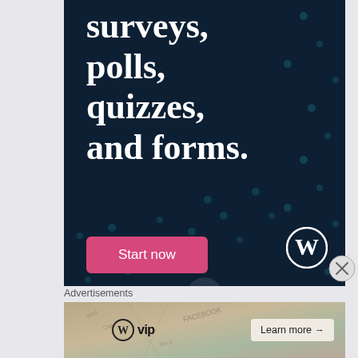[Figure (illustration): WordPress advertisement on dark navy background with decorative dot pattern. Large white serif text reads 'surveys, polls, quizzes, and forms.' with a pink 'Start now' button and WordPress logo in bottom right.]
Advertisements
[Figure (illustration): WordPress VIP advertisement banner with map/money imagery in background, WordPress VIP logo on left, and 'Learn more →' button on right.]